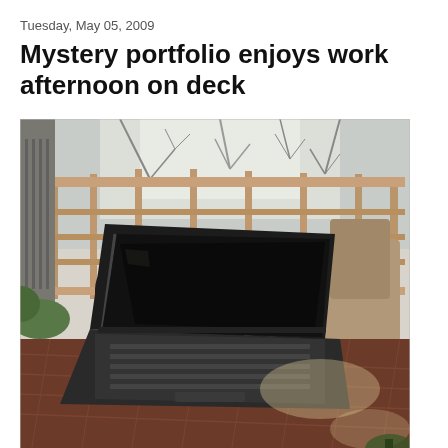Tuesday, May 05, 2009
Mystery portfolio enjoys work afternoon on deck
[Figure (photo): A laptop computer open on what appears to be a deck chair or outdoor furniture, with a black bag/portfolio behind it. The background shows a wooden deck railing and bare trees visible through the railing slats, suggesting early spring. The laptop keyboard is visible and the screen is dark/off.]